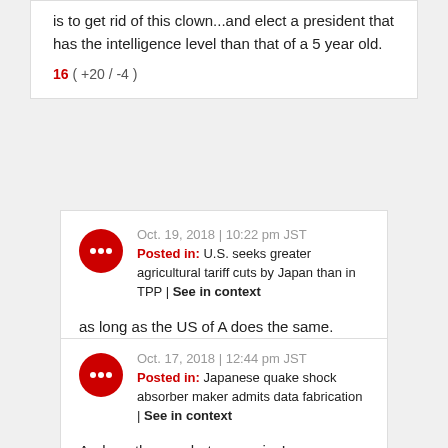is to get rid of this clown...and elect a president that has the intelligence level than that of a 5 year old.
16 ( +20 / -4 )
Oct. 19, 2018 | 10:22 pm JST
Posted in: U.S. seeks greater agricultural tariff cuts by Japan than in TPP | See in context
as long as the US of A does the same.
-3 ( +1 / -4 )
Oct. 17, 2018 | 12:44 pm JST
Posted in: Japanese quake shock absorber maker admits data fabrication | See in context
And another… what a surprise!
2 ( +3 / -1 )